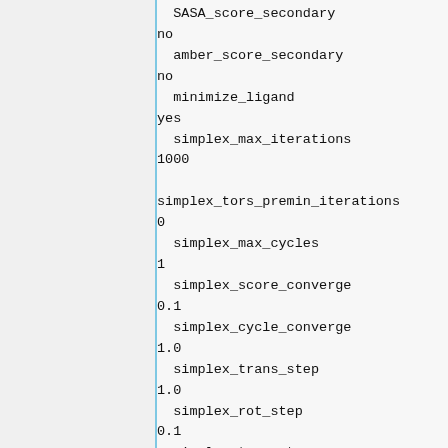SASA_score_secondary
no
  amber_score_secondary
no
  minimize_ligand
yes
  simplex_max_iterations
1000

simplex_tors_premin_iterations
0
  simplex_max_cycles
1
  simplex_score_converge
0.1
  simplex_cycle_converge
1.0
  simplex_trans_step
1.0
  simplex_rot_step
0.1
  simplex_tors_step
10.0
  simplex_random_seed
0